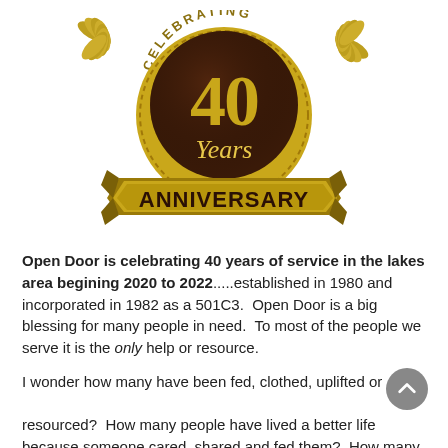[Figure (illustration): 40 Years Anniversary celebration seal/badge in gold and dark brown, with laurel wreaths on sides and 'CELEBRATING' text at top, '40 Years' in center, and 'ANNIVERSARY' on a gold ribbon banner at bottom.]
Open Door is celebrating 40 years of service in the lakes area begining 2020 to 2022.....established in 1980 and incorporated in 1982 as a 501C3. Open Door is a big blessing for many people in need. To most of the people we serve it is the only help or resource.
I wonder how many have been fed, clothed, uplifted or resourced? How many people have lived a better life because someone cared, shared and fed them? How many families have